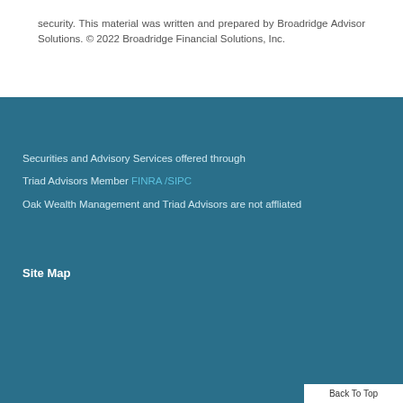security. This material was written and prepared by Broadridge Advisor Solutions. © 2022 Broadridge Financial Solutions, Inc.
Securities and Advisory Services offered through
Triad Advisors Member FINRA /SIPC
Oak Wealth Management and Triad Advisors are not affliated
Site Map
Back To Top